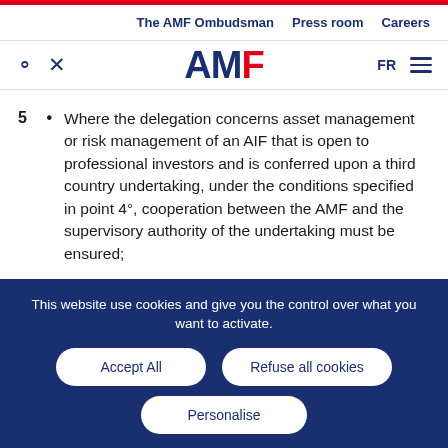The AMF Ombudsman | Press room | Careers
[Figure (logo): AMF logo with search and tool icons on left, FR language selector and hamburger menu on right]
5 • Where the delegation concerns asset management or risk management of an AIF that is open to professional investors and is conferred upon a third country undertaking, under the conditions specified in point 4°, cooperation between the AMF and the supervisory authority of the undertaking must be ensured;
This website use cookies and give you the control over what you want to activate. [Accept All] [Refuse all cookies] [Personalise]